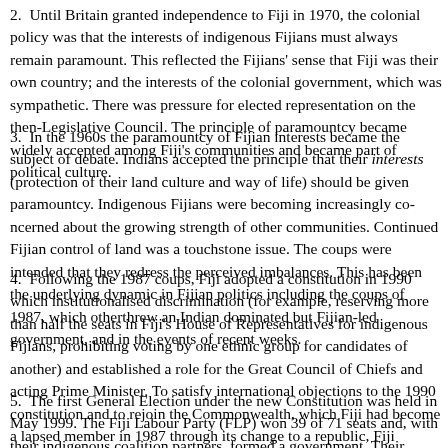2.  Until Britain granted independence to Fiji in 1970, the colonial policy was that the interests of indigenous Fijians must always remain paramount. This reflected the Fijians' sense that Fiji was their own country; and the interests of the colonial government, which was sympathetic. There was pressure for elected representation on the then-Legislative Council. The principle of paramountcy became widely accepted among Fiji's communities and became part of political culture.
3.  In the 1960s the paramountcy of Fijian interests became the subject of debate. Indians accepted the principle that their interests (protection of their land culture and way of life) should be given paramountcy. Indigenous Fijians were becoming increasingly concerned about the growing strength of other communities. Continued Fijian control of land was a touchstone issue. The coups were intended that they redress the perceived imbalances. This has been the underlying dynamic in Fijian politics including the coups of 1987, which otherthrew an Indian dominated but Fijian-led government, and in the events of recent weeks.
4.  Following the 1987 coups, Fiji adopted a constitution in 1990 which institutionalised discrimination (for example, reserving more than half the seats in Fiji's House of Representatives for indigenous Fijians, prohibiting voting by one ethnic group for candidates of another) and established a role for the Great Council of Chiefs and acting Prime Minister. To satisfy international objections to the 1990 constitution and to rejoin the Commonwealth, which Fiji had become a lapsed member in 1987 through its change to a republic, Fiji enacted the Constitutional Amendment Act of 1997. This restored ethnic balance including replacing communal rolls which had entrenched voting on an exclusively racial basis, withdrew the indigenous reservation of seats, and included a requirement for the Prime Minister to include in the Cabinet members of opposition parties winning more than 10% of seats. The constitution came into effect on 27 July 1998 and Fiji was re-admitted to the Commonwealth at the Heads of Government meeting in Edinburgh in October 1997.
5.  The first General Election under the new Constitution was held in May 1999. The Fiji Labour Party (FLP) won 39 of 71 seats and, with their indigenous coalition partners, formed a government. Their former trade union leader became Fiji's first Indo-Fijian Prime Minister. Many indigenous Fijians were attracted by the FLP's social and...